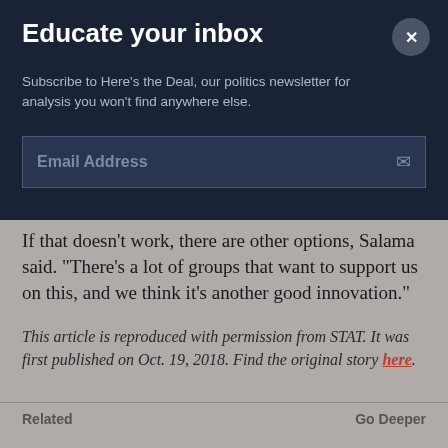Educate your inbox
Subscribe to Here's the Deal, our politics newsletter for analysis you won't find anywhere else.
Email Address
If that doesn't work, there are other options, Salama said. “There’s a lot of groups that want to support us on this, and we think it’s another good innovation.”
This article is reproduced with permission from STAT. It was first published on Oct. 19, 2018. Find the original story here.
Related
Go Deeper